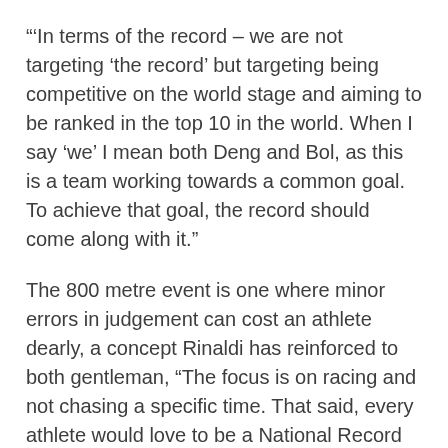"'In terms of the record – we are not targeting 'the record' but targeting being competitive on the world stage and aiming to be ranked in the top 10 in the world. When I say 'we' I mean both Deng and Bol, as this is a team working towards a common goal. To achieve that goal, the record should come along with it."
The 800 metre event is one where minor errors in judgement can cost an athlete dearly, a concept Rinaldi has reinforced to both gentleman, "The focus is on racing and not chasing a specific time. That said, every athlete would love to be a National Record holder at some point in their career.
Rinaldi has a unique history with the event, having coached equal national record-holder Alex Rowe